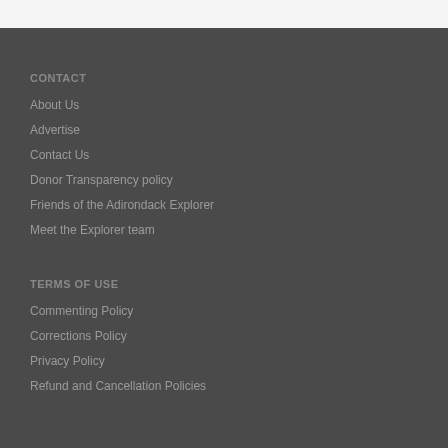CONTACT
About Us
Advertise
Contact Us
Donor Transparency policy
Friends of the Adirondack Explorer
Meet the Explorer team
TERMS OF USE
Commenting Policy
Corrections Policy
Privacy Policy
Refund and Cancellation Policies